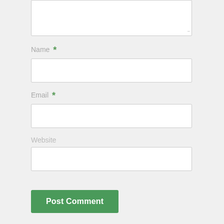[Figure (screenshot): Textarea input field (comment box) partially visible at top of page, with resize handle dots at bottom right]
Name *
[Figure (screenshot): Name input field, empty white text box]
Email *
[Figure (screenshot): Email input field, empty white text box]
Website
[Figure (screenshot): Website input field, empty white text box]
Post Comment
Notify me of new comments via email.
Notify me of new posts via email.